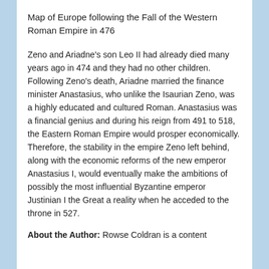Map of Europe following the Fall of the Western Roman Empire in 476
Zeno and Ariadne's son Leo II had already died many years ago in 474 and they had no other children. Following Zeno's death, Ariadne married the finance minister Anastasius, who unlike the Isaurian Zeno, was a highly educated and cultured Roman. Anastasius was a financial genius and during his reign from 491 to 518, the Eastern Roman Empire would prosper economically. Therefore, the stability in the empire Zeno left behind, along with the economic reforms of the new emperor Anastasius I, would eventually make the ambitions of possibly the most influential Byzantine emperor Justinian I the Great a reality when he acceded to the throne in 527.
About the Author: Rowse Coldran is a content